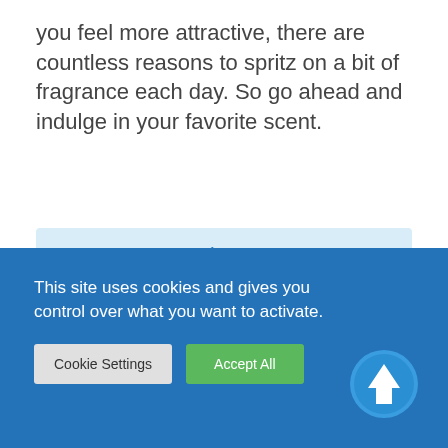you feel more attractive, there are countless reasons to spritz on a bit of fragrance each day. So go ahead and indulge in your favorite scent.
[Figure (photo): Author photo of Surender Kumar — a man with dark hair and beard wearing a red shirt, with greenery in background]
Surender Kumar
This site uses cookies and gives you control over what you want to activate.
Cookie Settings
Accept All